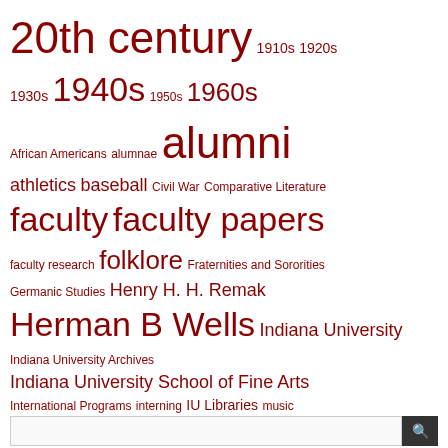[Figure (infographic): Tag cloud with terms related to Indiana University archives and collections, displayed in varying font sizes in dark red color. Terms include: 20th century, 1910s, 1920s, 1930s, 1940s, 1950s, 1960s, African Americans, alumnae, alumni, athletics, baseball, Civil War, Comparative Literature, faculty, faculty papers, faculty research, folklore, Fraternities and Sororities, Germanic Studies, Henry H. H. Remak, Herman B Wells, Indiana University, Indiana University Archives, Indiana University School of Fine Arts, International Programs, interning, IU Libraries, music, Photographs, Presidents, staff features, Student Demonstrations, Student groups, student life, student publications, Students, West European Studies, Women, Women's rights, World War I, World War II, wwi, wwii]